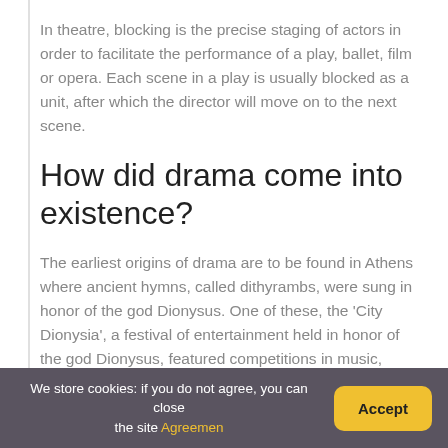In theatre, blocking is the precise staging of actors in order to facilitate the performance of a play, ballet, film or opera. Each scene in a play is usually blocked as a unit, after which the director will move on to the next scene.
How did drama come into existence?
The earliest origins of drama are to be found in Athens where ancient hymns, called dithyrambs, were sung in honor of the god Dionysus. One of these, the 'City Dionysia', a festival of entertainment held in honor of the god Dionysus, featured competitions in music,
We store cookies: if you do not agree, you can close the site Agreement